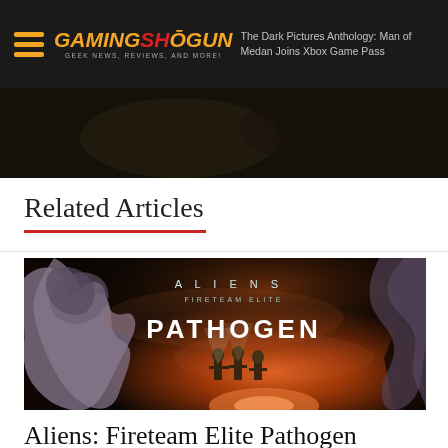Gaming Shogun – Geek News, Reviews, and More! | The Dark Pictures Anthology… | …dan Joins Xbox Game Pass
[Figure (screenshot): Dark/dark screenshot strip at top of page beneath header]
Related Articles
[Figure (photo): Aliens: Fireteam Elite Pathogen promotional key art showing alien creature on left and soldiers in background with the title 'ALIENS FIRETEAM ELITE PATHOGEN' displayed prominently]
Aliens: Fireteam Elite Pathogen